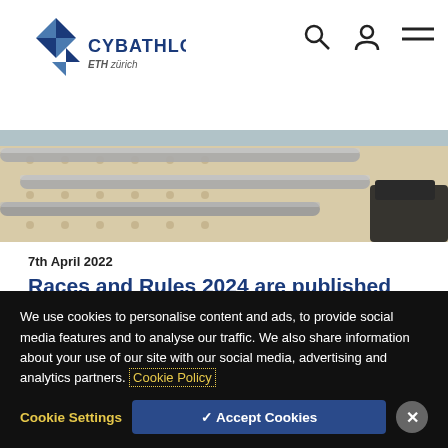[Figure (logo): CYBATHLON logo with ETH Zurich text]
[Figure (photo): Close-up photo of metal rods/rails on a perforated surface, with a dark shoe visible at the right]
7th April 2022
Races and Rules 2024 are published
CYBATHLON officially starts the Road to 2024: In May the first CYBATHLON
We use cookies to personalise content and ads, to provide social media features and to analyse our traffic. We also share information about your use of our site with our social media, advertising and analytics partners. Cookie Policy
Cookie Settings
✓ Accept Cookies